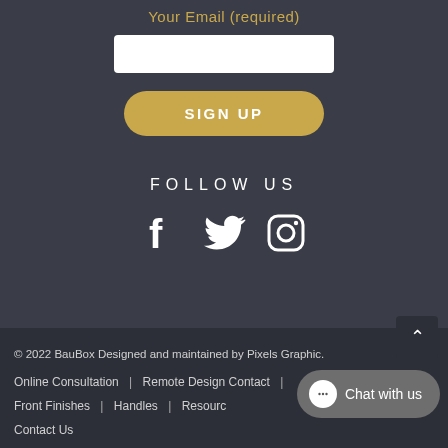Your Email (required)
SIGN UP
FOLLOW US
[Figure (illustration): Social media icons: Facebook (f), Twitter (bird), Instagram (camera outline)]
© 2022 BauBox Designed and maintained by Pixels Graphic.
Online Consultation  |  Remote Design Contact  |
Front Finishes  |  Handles  |  Resources
Contact Us